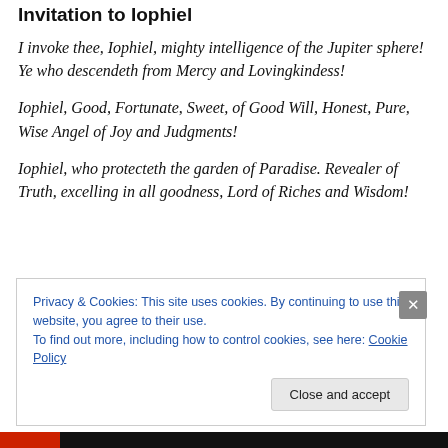Invitation to Iophiel
I invoke thee, Iophiel, mighty intelligence of the Jupiter sphere! Ye who descendeth from Mercy and Lovingkindess!
Iophiel, Good, Fortunate, Sweet, of Good Will, Honest, Pure, Wise Angel of Joy and Judgments!
Iophiel, who protecteth the garden of Paradise. Revealer of Truth, excelling in all goodness, Lord of Riches and Wisdom!
Privacy & Cookies: This site uses cookies. By continuing to use this website, you agree to their use. To find out more, including how to control cookies, see here: Cookie Policy
Close and accept